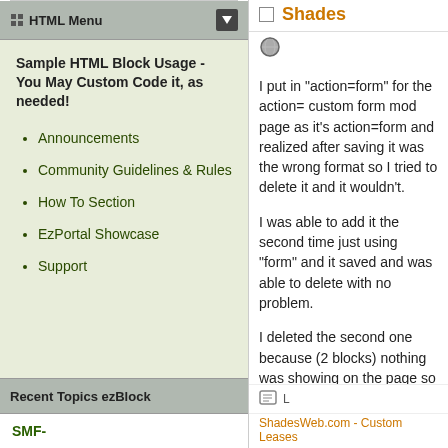HTML Menu
Sample HTML Block Usage - You May Custom Code it, as needed!
Announcements
Community Guidelines & Rules
How To Section
EzPortal Showcase
Support
Recent Topics ezBlock
SMF-
Shades
I put in "action=form" for the action= custom form mod page as it's action=form and realized after saving it was the wrong format so I tried to delete it and it wouldn't.
I was able to add it the second time just using "form" and it saved and was able to delete with no problem.
I deleted the second one because (2 blocks) nothing was showing on the page so I just figured it wasn't correct, but now I'm still stuck with the first one that I wrongly put in the value "?action=form" if that makes since.
ShadesWeb.com - Custom Leases